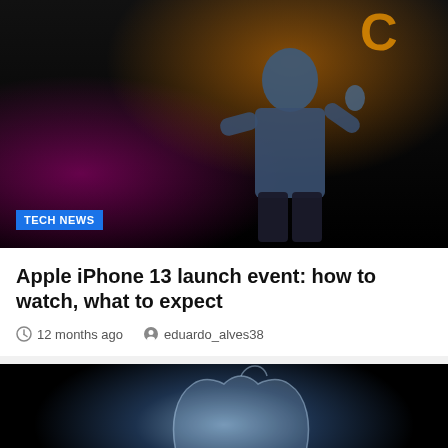[Figure (photo): Person on stage presenting at a tech event, dark background with orange and magenta neon lighting effects]
TECH NEWS
Apple iPhone 13 launch event: how to watch, what to expect
12 months ago   eduardo_alves38
[Figure (photo): Person silhouette in front of glowing Apple logo on dark background]